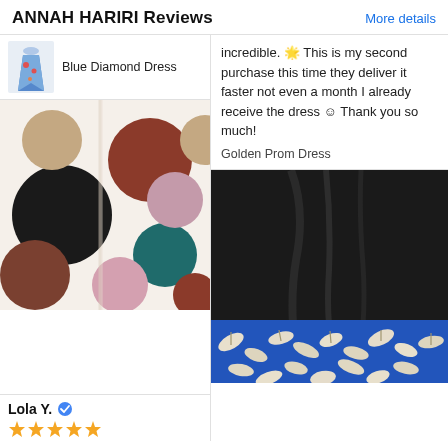ANNAH HARIRI Reviews
More details
Blue Diamond Dress
[Figure (photo): Polka dot dress fabric close-up with multicolored dots on cream background]
Lola Y.
[Figure (other): Five gold star rating]
incredible. 🌟 This is my second purchase this time they deliver it faster not even a month I already receive the dress 😊 Thank you so much!
Golden Prom Dress
[Figure (photo): Black top with blue and white leaf print waistband dress photo]